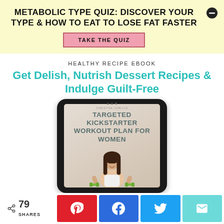METABOLIC TYPE QUIZ: DISCOVER YOUR TYPE & HOW TO EAT TO LOSE FAT FASTER
TAKE THE QUIZ
HEALTHY RECIPE EBOOK
Get Delish, Nutrish Dessert Recipes & Indulge Guilt-Free
[Figure (illustration): Tablet device showing book cover: TARGETED KICKSTARTER WORKOUT PLAN FOR WOMEN with a woman holding green weights]
79 SHARES
[Figure (infographic): Social share buttons: Pinterest (red), Facebook (blue), Twitter (blue), Email (teal)]